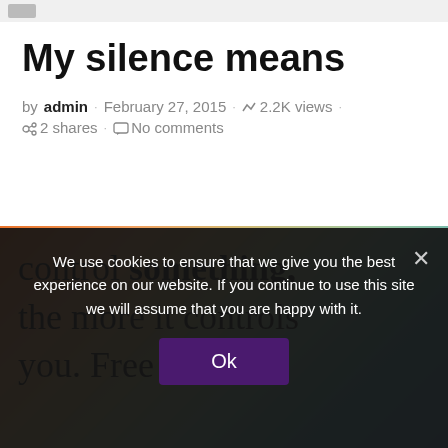My silence means
by admin · February 27, 2015 · 2.2K views · 2 shares · No comments
[Figure (photo): Inspirational quote image with colorful gradient background (orange, yellow, green, teal) showing partial text: 'control something, the more it controls you. Free yourself']
We use cookies to ensure that we give you the best experience on our website. If you continue to use this site we will assume that you are happy with it.